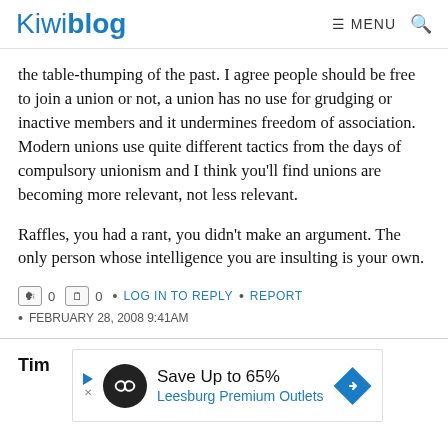Kiwiblog  ☰ MENU  🔍
the table-thumping of the past. I agree people should be free to join a union or not, a union has no use for grudging or inactive members and it undermines freedom of association. Modern unions use quite different tactics from the days of compulsory unionism and I think you'll find unions are becoming more relevant, not less relevant.
Raffles, you had a rant, you didn't make an argument. The only person whose intelligence you are insulting is your own.
0  0  •  LOG IN TO REPLY  •  REPORT
•  FEBRUARY 28, 2008 9:41AM
Tim
[Figure (other): Advertisement banner: Save Up to 65% Leesburg Premium Outlets with infinity logo and blue diamond arrow]